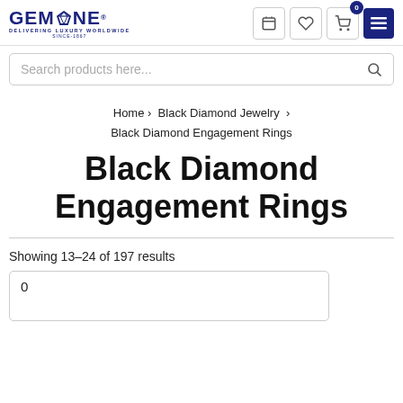GEMONE - DELIVERING LUXURY WORLDWIDE SINCE-1867
Search products here...
Home › Black Diamond Jewelry › Black Diamond Engagement Rings
Black Diamond Engagement Rings
Showing 13-24 of 197 results
0